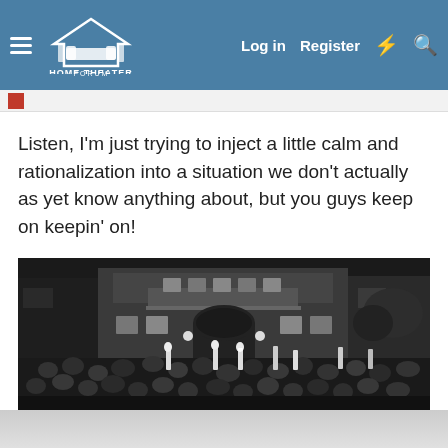HOME THEATER FORUM — Log in | Register
Listen, I'm just trying to inject a little calm and rationalization into a situation we don't actually as yet know anything about, but you guys keep on keepin' on!
[Figure (photo): Black and white photograph of a large crowd of people gathered at night in front of a multi-story European-style building with an arched entrance, with torches or lights visible.]